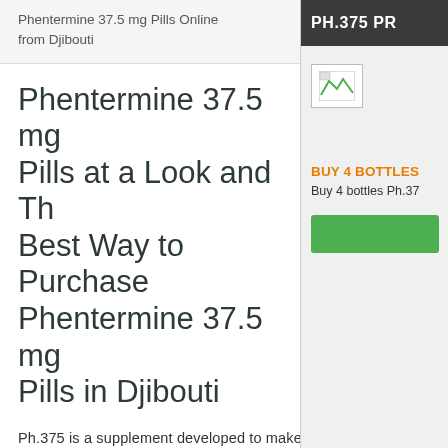Phentermine 37.5 mg Pills Online from Djibouti
Phentermine 37.5 mg Pills at a Look and The Best Way to Purchase Phentermine 37.5 mg Pills in Djibouti
Ph.375 is a supplement developed to make fat burning quickly as well as straightforward. When integrated with exercise and a low calorie diet regimen is indicated to quicken the quantity of pounds a individual could shed. Ph.375 developed as a metabolic process sup charger that turns the body right into a continuous body fat burning equipment.
PH.375 PR
[Figure (photo): Small image placeholder in sidebar]
BUY 4 BOTTLES
Buy 4 bottles Ph.37...